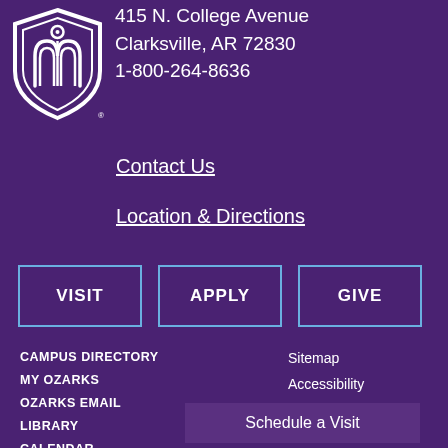[Figure (logo): University of the Ozarks shield logo in white]
415 N. College Avenue
Clarksville, AR 72830
1-800-264-8636
Contact Us
Location & Directions
VISIT
APPLY
GIVE
CAMPUS DIRECTORY
MY OZARKS
OZARKS EMAIL
LIBRARY
CALENDAR
CAMPUS MAP
Sitemap
Accessibility
Privacy Policy
Schedule a Visit